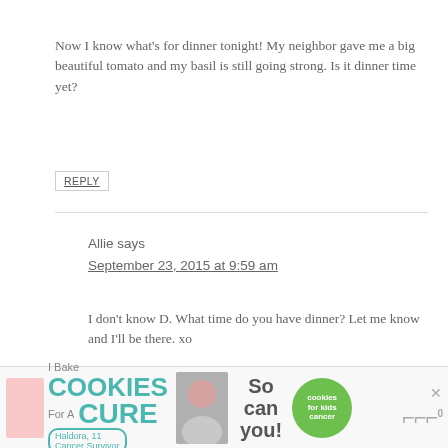Now I know what’s for dinner tonight! My neighbor gave me a big beautiful tomato and my basil is still going strong. Is it dinner time yet?
REPLY
Allie says
September 23, 2015 at 9:59 am
I don’t know D. What time do you have dinner? Let me know and I’ll be there. xo
REPLY
[Figure (infographic): Advertisement banner for Cookies for Kids Cancer featuring text 'I Bake COOKIES For A CURE', a photo of a smiling girl holding baked goods, 'So can you!' text, a green Cookies for Kids Cancer logo circle, a close button, and a media outlet logo.]